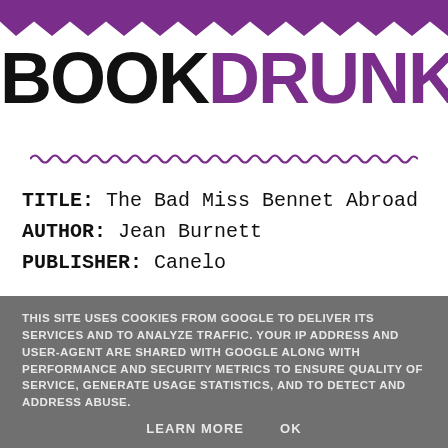[Figure (logo): BookDrunk logo — 'BOOK' in black bold and 'DRUNK' in purple bold, large display font, with purple scalloped border at top and decorative squiggle underline]
TITLE: The Bad Miss Bennet Abroad
AUTHOR: Jean Burnett
PUBLISHER: Canelo
THIS SITE USES COOKIES FROM GOOGLE TO DELIVER ITS SERVICES AND TO ANALYZE TRAFFIC. YOUR IP ADDRESS AND USER-AGENT ARE SHARED WITH GOOGLE ALONG WITH PERFORMANCE AND SECURITY METRICS TO ENSURE QUALITY OF SERVICE, GENERATE USAGE STATISTICS, AND TO DETECT AND ADDRESS ABUSE.

LEARN MORE   OK